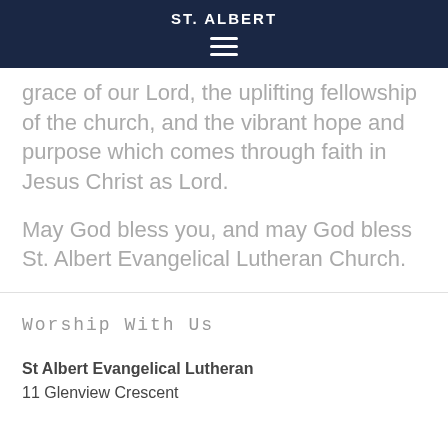ST. ALBERT
grace of our Lord, the uplifting fellowship of the church, and the vibrant hope and purpose which comes through faith in Jesus Christ as Lord.
May God bless you, and may God bless St. Albert Evangelical Lutheran Church.
Worship With Us
St Albert Evangelical Lutheran
11 Glenview Crescent